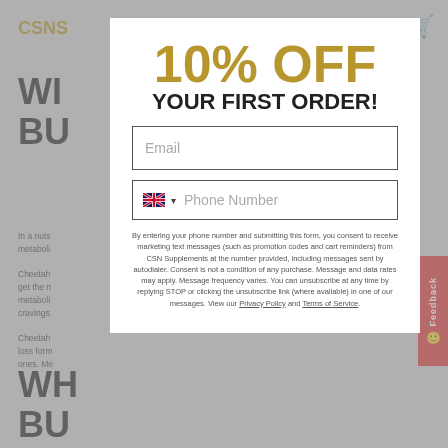CSNS
WH... BU...
In a nuts... ase metaboli... hy d...
Cheetah... ities t get the n... o the metaboli... nger cravings...
Cheetah... nic fat loss form... tented ones. Me...
WH... BU...
[Figure (screenshot): Website popup modal offering 10% OFF YOUR FIRST ORDER with email and phone number input fields, consent text about marketing messages, and links to Privacy Policy and Terms of Service.]
10% OFF
YOUR FIRST ORDER!
Email
Phone Number
By entering your phone number and submitting this form, you consent to receive marketing text messages (such as promotion codes and cart reminders) from CSN Supplements at the number provided, including messages sent by autodialer. Consent is not a condition of any purchase. Message and data rates may apply. Message frequency varies. You can unsubscribe at any time by replying STOP or clicking the unsubscribe link (where available) in one of our messages. View our Privacy Policy and Terms of Service.